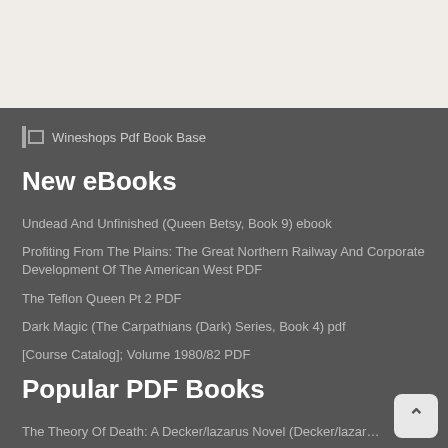Wineshops Pdf Book Base
New eBooks
Undead And Unfinished (Queen Betsy, Book 9) ebook
Profiting From The Plains: The Great Northern Railway And Corporate Development Of The American West PDF
The Teflon Queen Pt 2 PDF
Dark Magic (The Carpathians (Dark) Series, Book 4) pdf
[Course Catalog]; Volume 1980/82 PDF
Popular PDF Books
The Theory Of Death: A Decker/lazarus Novel (Decker/lazar…